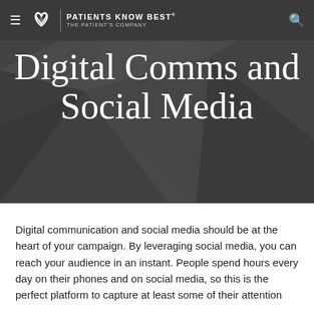PATIENTS KNOW BEST® The Patient's Company
Digital Comms and Social Media
Digital communication and social media should be at the heart of your campaign. By leveraging social media, you can reach your audience in an instant. People spend hours every day on their phones and on social media, so this is the perfect platform to capture at least some of their attention